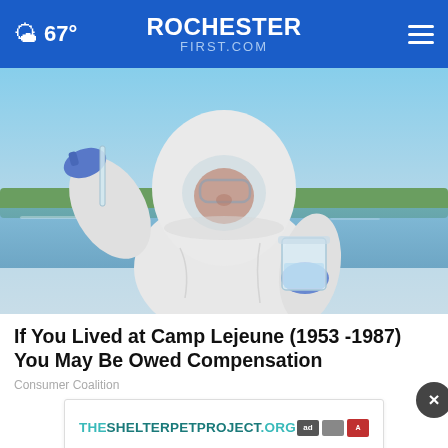67° RochesterFirst.com
[Figure (photo): Person in white hazmat suit and blue gloves examining water sample in beaker outdoors near a body of water]
If You Lived at Camp Lejeune (1953 -1987) You May Be Owed Compensation
Consumer Coalition
[Figure (other): Advertisement banner: THESHELTERPETPROJECT.ORG with ad network icons]
[Figure (photo): Partial bottom image strip, gray background]